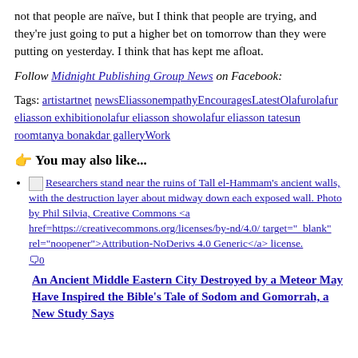not that people are naïve, but I think that people are trying, and they're just going to put a higher bet on tomorrow than they were putting on yesterday. I think that has kept me afloat.
Follow Midnight Publishing Group News on Facebook:
Tags: artistartnet newsEliassonempathyEncouragesLatestOlafurolafur eliasson exhibitionolafur eliasson showolafur eliasson tatesun roomtanya bonakdar galleryWork
You may also like...
Researchers stand near the ruins of Tall el-Hammam's ancient walls, with the destruction layer about midway down each exposed wall. Photo by Phil Silvia, Creative Commons <a href=https://creativecommons.org/licenses/by-nd/4.0/ target="_blank" rel="noopener">Attribution-NoDerivs 4.0 Generic</a> license. 0
An Ancient Middle Eastern City Destroyed by a Meteor May Have Inspired the Bible's Tale of Sodom and Gomorrah, a New Study Says